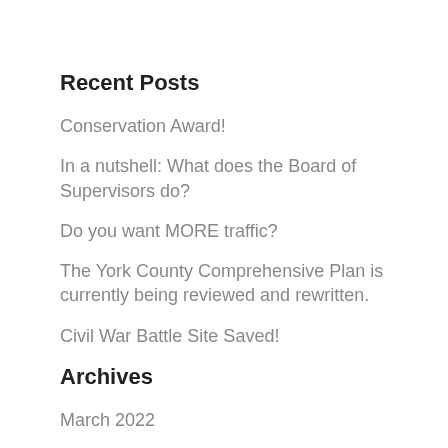Recent Posts
Conservation Award!
In a nutshell: What does the Board of Supervisors do?
Do you want MORE traffic?
The York County Comprehensive Plan is currently being reviewed and rewritten.
Civil War Battle Site Saved!
Archives
March 2022